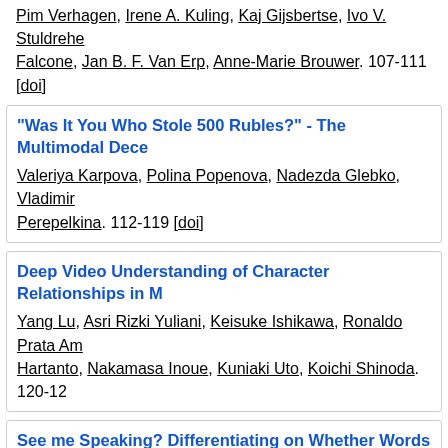Pim Verhagen, Irene A. Kuling, Kaj Gijsbertse, Ivo V. Stuldrehe Falcone, Jan B. F. Van Erp, Anne-Marie Brouwer. 107-111 [doi]
"Was It You Who Stole 500 Rubles?" - The Multimodal Dece... Valeriya Karpova, Polina Popenova, Nadezda Glebko, Vladimir Perepelkina. 112-119 [doi]
Deep Video Understanding of Character Relationships in M... Yang Lu, Asri Rizki Yuliani, Keisuke Ishikawa, Ronaldo Prata A... Hartanto, Nakamasa Inoue, Kuniaki Uto, Koichi Shinoda. 120-12...
See me Speaking? Differentiating on Whether Words are Sp... Off to Optimize Machine Dubbing Shravan Nayak, Timo Baumann, Supratik Bhattacharya, Alina K... Negri, Marco Turchi. 130-134 [doi]
Kinetics and Scene Features for Intent Detection Raksha Ramesh, Vishal Anand, Ziyin Wang, Tianle Zhu, Wenfer... Ching Yung Lin. 135-139 [doi]